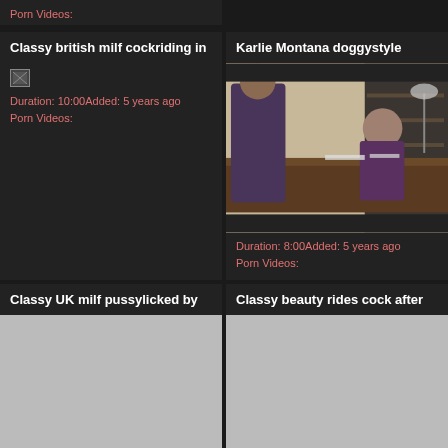Porn Videos:
Classy british milf cockriding in
[Figure (photo): Broken image icon]
Duration: 10:00Added: 5 years ago
Porn Videos:
Karlie Montana doggystyle
[Figure (photo): Video thumbnail showing a man and woman in an office setting at a desk. Watermark: TwistHard.com]
Duration: 8:00Added: 5 years ago
Porn Videos:
Classy UK milf pussylicked by
[Figure (photo): Gray placeholder thumbnail]
Classy beauty rides cock after
[Figure (photo): Gray placeholder thumbnail]